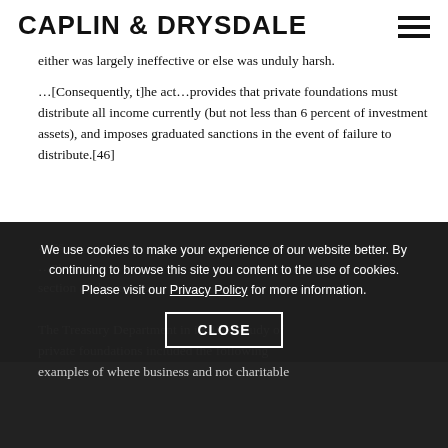CAPLIN & DRYSDALE
either was largely ineffective or else was unduly harsh.
…[Consequently, t]he act…provides that private foundations must distribute all income currently (but not less than 6 percent of investment assets), and imposes graduated sanctions in the event of failure to distribute.[46]
We use cookies to make your experience of our website better. By continuing to browse this site you content to the use of cookies. Please visit our Privacy Policy for more information.
CLOSE
The Treasury Department in its 1965 study of private foundations included the following examples of where business and not charitable...